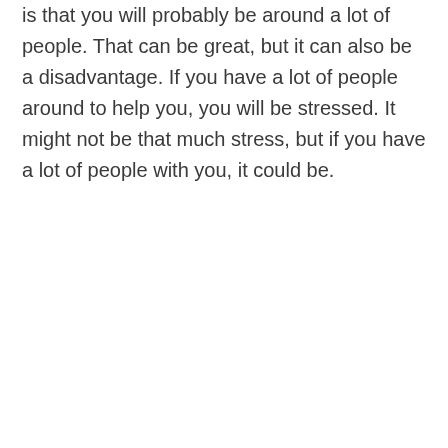is that you will probably be around a lot of people. That can be great, but it can also be a disadvantage. If you have a lot of people around to help you, you will be stressed. It might not be that much stress, but if you have a lot of people with you, it could be.